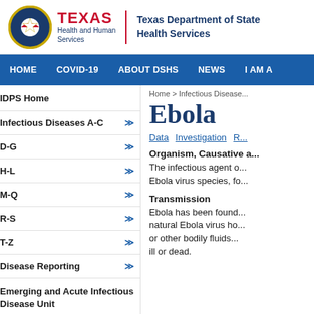[Figure (logo): Texas Health and Human Services seal/logo with Texas state seal circle on left, TEXAS text in red, Health and Human Services in dark blue, vertical red divider line, Texas Department of State Health Services in dark blue bold text]
HOME | COVID-19 | ABOUT DSHS | NEWS | I AM A
IDPS Home
Infectious Diseases A-C
D-G
H-L
M-Q
R-S
T-Z
Disease Reporting
Emerging and Acute Infectious Disease Unit
Healthcare Safety
IDPS Health Topics
Home > Infectious Disease...
Ebola
Data   Investigation   [...]
Organism, Causative a...
The infectious agent o... Ebola virus species, fo...
Transmission
Ebola has been found... natural Ebola virus ho... or other bodily fluids... ill or dead.